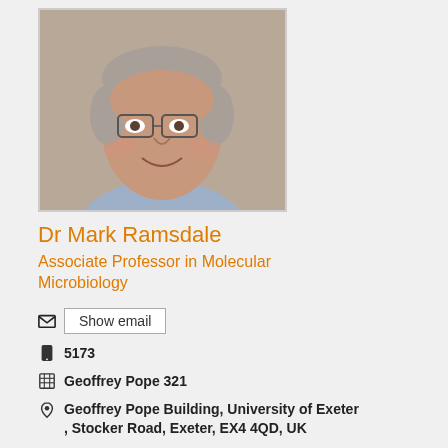[Figure (photo): Headshot photo of Dr Mark Ramsdale, a middle-aged man with grey hair wearing glasses and a light blue shirt, smiling.]
Dr Mark Ramsdale
Associate Professor in Molecular Microbiology
Show email
5173
Geoffrey Pope 321
Geoffrey Pope Building, University of Exeter , Stocker Road, Exeter, EX4 4QD, UK